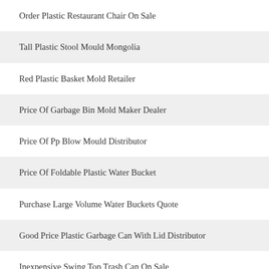Order Plastic Restaurant Chair On Sale
Tall Plastic Stool Mould Mongolia
Red Plastic Basket Mold Retailer
Price Of Garbage Bin Mold Maker Dealer
Price Of Pp Blow Mould Distributor
Price Of Foldable Plastic Water Bucket
Purchase Large Volume Water Buckets Quote
Good Price Plastic Garbage Can With Lid Distributor
Inexpensive Swing Top Trash Can On Sale
Price Of Hdpe Bottle Blow Mold On Sale